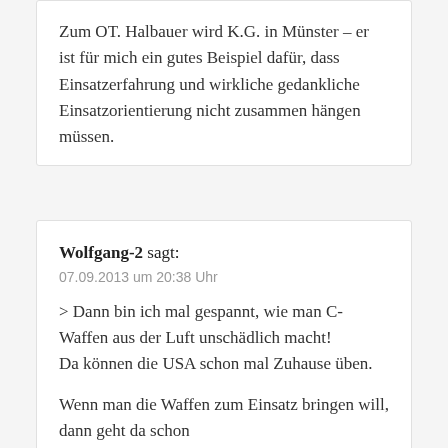Zum OT. Halbauer wird K.G. in Münster – er ist für mich ein gutes Beispiel dafür, dass Einsatzerfahrung und wirkliche gedankliche Einsatzorientierung nicht zusammen hängen müssen.
Wolfgang-2 sagt: 07.09.2013 um 20:38 Uhr
> Dann bin ich mal gespannt, wie man C-Waffen aus der Luft unschädlich macht!
Da können die USA schon mal Zuhause üben.

Wenn man die Waffen zum Einsatz bringen will, dann geht da schon...